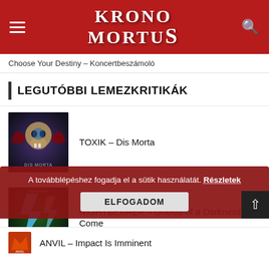KRONOMORTU S
Choose Your Destiny – Koncertbeszámoló
LEGUTÓBBI LEMEZKRITIKÁK
TOXIK – Dis Morta
NIGHTBEARER – Ghosts of a Darkness to Come
A továbblépéshez fogadja el a sütik használatát. Részletek
ELFOGADOM
ANVIL – Impact Is Imminent